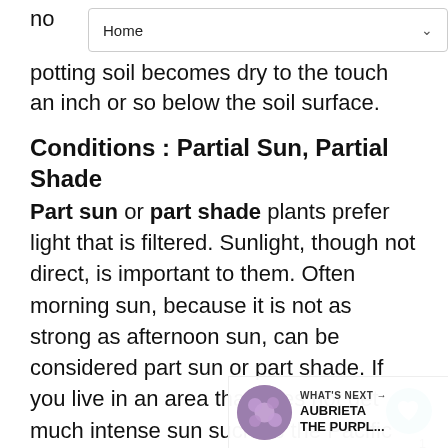Home
no
potting soil becomes dry to the touch an inch or so below the soil surface.
Conditions : Partial Sun, Partial Shade
Part sun or part shade plants prefer light that is filtered. Sunlight, though not direct, is important to them. Often morning sun, because it is not as strong as afternoon sun, can be considered part sun or part shade. If you live in an area that does not get much intense sun such as the Pacific Northwest, a full sun exposure may be fine. In other areas such as Florida, plant in a location where afternoon shade will be received.